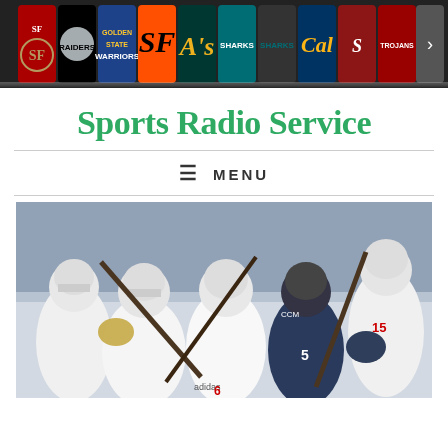[Figure (screenshot): Sports Radio Service website header showing team logos banner with SF 49ers, Raiders, Golden State Warriors, SF Giants, Oakland A's, San Jose Sharks, Cal Bears, Stanford Cardinal, San Jose Earthquakes and other Bay Area sports teams on colored tiles]
Sports Radio Service
≡ MENU
[Figure (photo): Hockey players in white jerseys celebrating, including player number 15 and number 5, huddling together on ice]